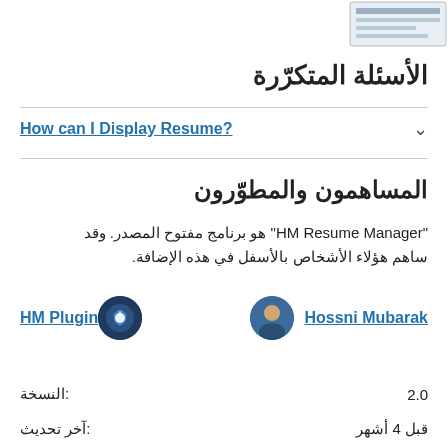[Figure (screenshot): Small thumbnail image of a plugin/resume screenshot in top right corner]
الأسئلة المتكرّرة
?How can I Display Resume
المساهمون والمطوّرون
"HM Resume Manager" هو برنامج مفتوح المصدر. وقد ساهم هؤلاء الأشخاص بالأسفل في هذه الإضافة.
HM Plugin   Hossni Mubarak
النسخة: 2.0
آخر تحديث: قبل 4 أشهر